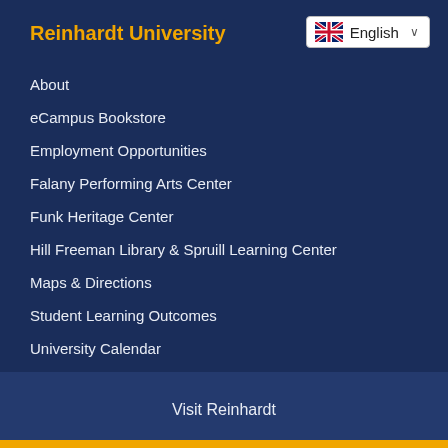Reinhardt University
[Figure (other): UK flag with English language selector dropdown]
About
eCampus Bookstore
Employment Opportunities
Falany Performing Arts Center
Funk Heritage Center
Hill Freeman Library & Spruill Learning Center
Maps & Directions
Student Learning Outcomes
University Calendar
Visit Reinhardt